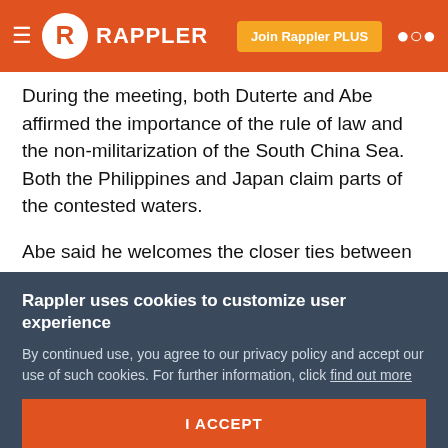RAPPLER | Join Rappler PLUS
During the meeting, both Duterte and Abe affirmed the importance of the rule of law and the non-militarization of the South China Sea. Both the Philippines and Japan claim parts of the contested waters.
Abe said he welcomes the closer ties between the Philippines and China amid the arbitral ruling favoring the former. Duterte has been warmer to China compared to his predecessor, former president Benigno Aquino III.
Still, the two governments signed a memorandum of
Rappler uses cookies to customize user experience
By continued use, you agree to our privacy policy and accept our use of such cookies. For further information, click find out more
I ACCEPT